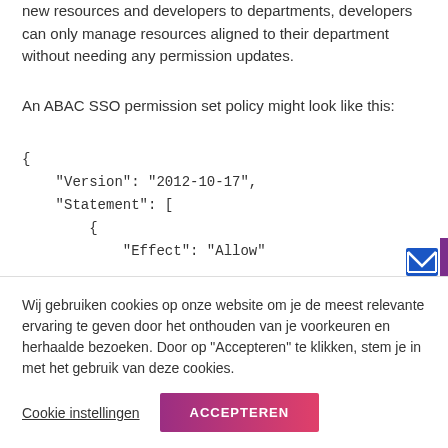new resources and developers to departments, developers can only manage resources aligned to their department without needing any permission updates.
An ABAC SSO permission set policy might look like this:
{
    "Version": "2012-10-17",
    "Statement": [
        {
            "Effect": "Allow"
Wij gebruiken cookies op onze website om je de meest relevante ervaring te geven door het onthouden van je voorkeuren en herhaalde bezoeken. Door op "Accepteren" te klikken, stem je in met het gebruik van deze cookies.
Cookie instellingen
ACCEPTEREN